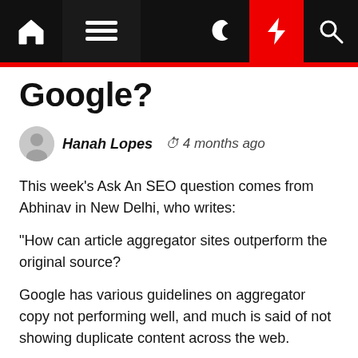Navigation bar with home, menu, dark mode, flash, and search icons
Google?
Hanah Lopes  4 months ago
This week's Ask An SEO question comes from Abhinav in New Delhi, who writes:
"How can article aggregator sites outperform the original source?
Google has various guidelines on aggregator copy not performing well, and much is said of not showing duplicate content across the web.
Yet RSS aggregator sites URLs are indexed, even knowing it's 100% duplicate content.